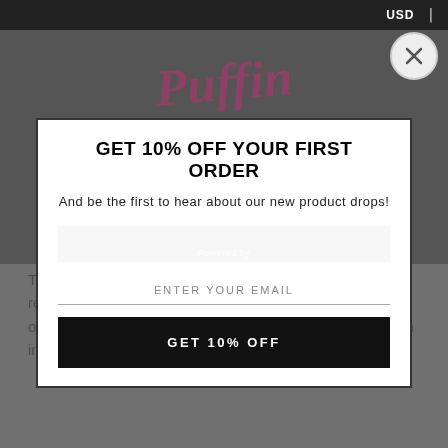USD
[Figure (logo): Puffin Vape Shop handwritten/script logo in pink/magenta color]
GET 10% OFF YOUR FIRST ORDER
And be the first to hear about our new product drops!
ENTER YOUR EMAIL
GET 10% OFF
Powered by omnisend
The products available on Puffin Vape Shop are age-restricted and intended for adults of legal smoking age only. All orders placed on the website will be verified by an industry leading Age Verification software for